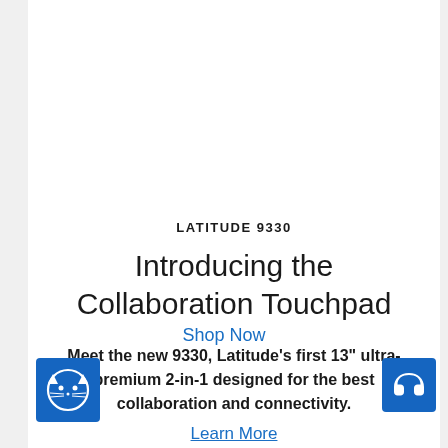LATITUDE 9330
Introducing the Collaboration Touchpad
Meet the new 9330, Latitude's first 13" ultra-premium 2-in-1 designed for the best collaboration and connectivity.
Shop Now
[Figure (logo): Blue square logo with a cat face icon]
[Figure (logo): Blue square button with headset/support icon]
Learn More